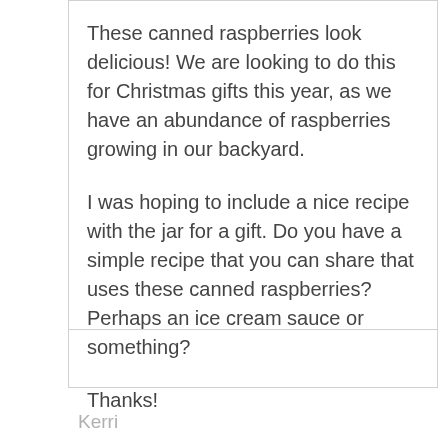These canned raspberries look delicious! We are looking to do this for Christmas gifts this year, as we have an abundance of raspberries growing in our backyard.
I was hoping to include a nice recipe with the jar for a gift. Do you have a simple recipe that you can share that uses these canned raspberries? Perhaps an ice cream sauce or something?
Thanks!
Kerri